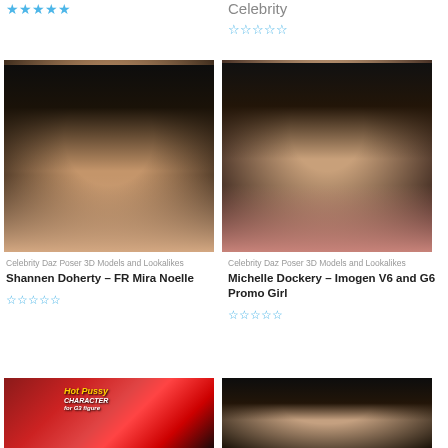[Figure (illustration): 5 filled blue stars rating in top left]
Celebrity
[Figure (illustration): Empty star rating (5 stars outline) under Celebrity title]
[Figure (photo): 3D rendered portrait of dark-haired woman with blue eyes (Shannen Doherty - FR Mira Noelle)]
Celebrity Daz Poser 3D Models and Lookalikes
Shannen Doherty – FR Mira Noelle
[Figure (illustration): Empty star rating (5 stars outline)]
[Figure (photo): 3D rendered portrait of dark-haired woman with red lips (Michelle Dockery - Imogen V6 and G6 Promo Girl)]
Celebrity Daz Poser 3D Models and Lookalikes
Michelle Dockery – Imogen V6 and G6 Promo Girl
[Figure (illustration): Empty star rating (5 stars outline)]
[Figure (photo): Red haired character with Hot Pussy Character text overlay (bottom left thumbnail)]
[Figure (photo): Dark haired 3D rendered woman portrait (bottom right thumbnail)]